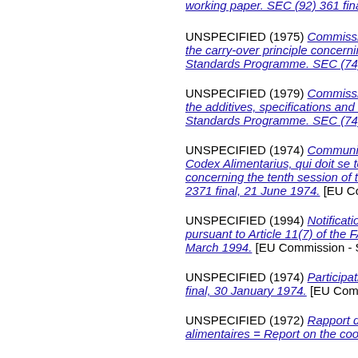UNSPECIFIED (1975) Commission rep... the carry-over principle concerning food... Standards Programme. SEC (74) 5249 ...
UNSPECIFIED (1979) Commission rep... the additives, specifications and method... Standards Programme. SEC (74) 5248 ...
UNSPECIFIED (1974) Communiction d... Codex Alimentarius, qui doit se tenir à R... concerning the tenth session of the Co... 2371 final, 21 June 1974. [EU Commiss...
UNSPECIFIED (1994) Notification of a d... pursuant to Article 11(7) of the FAO Co... March 1994. [EU Commission - SEC Do...
UNSPECIFIED (1974) Participation by t... final, 30 January 1974. [EU Commission...
UNSPECIFIED (1972) Rapport de coor... alimentaires = Report on the coordinatio...